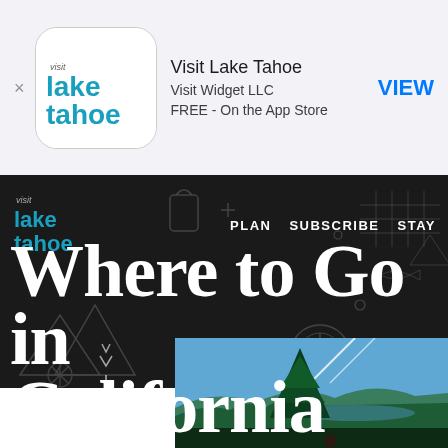[Figure (screenshot): App Store banner for Visit Lake Tahoe app showing app icon, title, developer, price, and VIEW button]
Where to Go in California
PLAN   SUBSCRIBE   STAY
[Figure (photo): Outdoor photo showing pine trees, blue sky with contrails, lake and mountains in background, person visible at bottom]